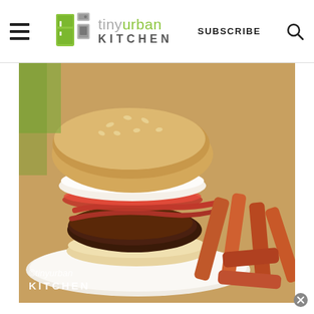tiny urban KITCHEN — SUBSCRIBE
[Figure (photo): Close-up photograph of a gourmet burger with sesame seed bun, cream cheese spread, tomato slices, bacon, and a thick beef patty on a white plate, served with sweet potato fries. Watermark reads ©tinyurban KITCHEN in the bottom-left corner.]